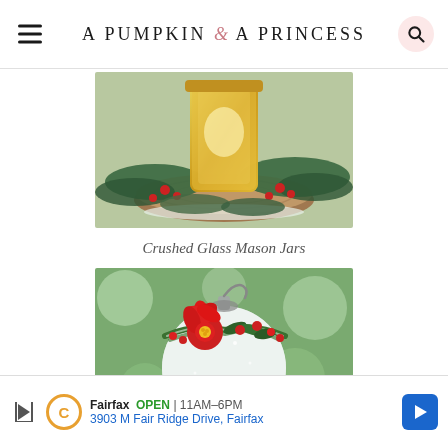A PUMPKIN & A PRINCESS
[Figure (photo): Close-up photo of a glittery gold mason jar centerpiece on a wood slice, surrounded by pine branches and red holly berries.]
Crushed Glass Mason Jars
[Figure (photo): Close-up photo of a white glittery Christmas ornament decorated with a red poinsettia flower, red berries, and green holly, against a blurred green background.]
Fairfax  OPEN | 11AM–6PM  3903 M Fair Ridge Drive, Fairfax